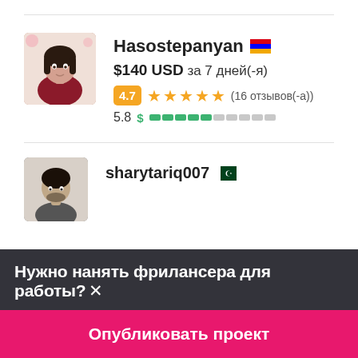[Figure (photo): Profile photo of Hasostepanyan - woman with dark hair on white/pink background]
Hasostepanyan 🇦🇲
$140 USD за 7 дней(-я)
4.7 ★★★★★ (16 отзывов(-а))
5.8 $ ▓▓▓▓▓░░░░░
[Figure (photo): Profile photo of sharytariq007 - man with dark hair]
sharytariq007 🇵🇰
Нужно нанять фрилансера для работы?✕
Опубликовать проект